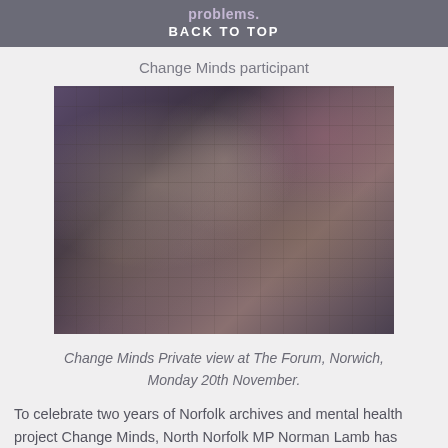problems. BACK TO TOP
Change Minds participant
[Figure (photo): Crowd of people at an event inside a venue, viewed from above, with display boards and tables visible — the Change Minds Private view at The Forum, Norwich.]
Change Minds Private view at The Forum, Norwich, Monday 20th November.
To celebrate two years of Norfolk archives and mental health project Change Minds, North Norfolk MP Norman Lamb has invited participants to the Houses of Parliament for a special visit and reception on Monday 4th of December 2017.
Change Minds helps very disadvantaged people in